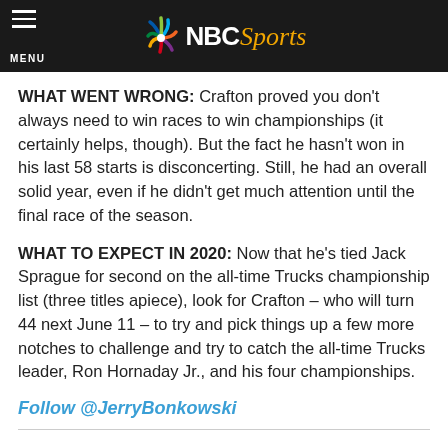NBC Sports
WHAT WENT WRONG: Crafton proved you don't always need to win races to win championships (it certainly helps, though). But the fact he hasn't won in his last 58 starts is disconcerting. Still, he had an overall solid year, even if he didn't get much attention until the final race of the season.
WHAT TO EXPECT IN 2020: Now that he's tied Jack Sprague for second on the all-time Trucks championship list (three titles apiece), look for Crafton – who will turn 44 next June 11 – to try and pick things up a few more notches to challenge and try to catch the all-time Trucks leader, Ron Hornaday Jr., and his four championships.
Follow @JerryBonkowski